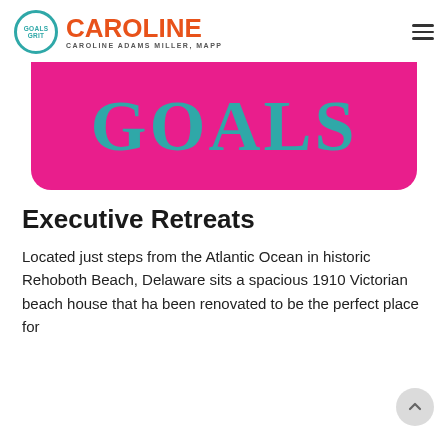GOALS GRIT | CAROLINE | CAROLINE ADAMS MILLER, MAPP
[Figure (illustration): Hot pink/magenta banner with large teal serif text reading GOALS, with rounded bottom corners]
Executive Retreats
Located just steps from the Atlantic Ocean in historic Rehoboth Beach, Delaware sits a spacious 1910 Victorian beach house that has been renovated to be the perfect place for